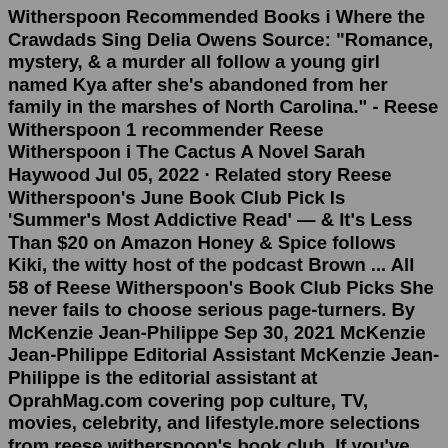Witherspoon Recommended Books i Where the Crawdads Sing Delia Owens Source: "Romance, mystery, & a murder all follow a young girl named Kya after she's abandoned from her family in the marshes of North Carolina." - Reese Witherspoon 1 recommender Reese Witherspoon i The Cactus A Novel Sarah Haywood Jul 05, 2022 · Related story Reese Witherspoon's June Book Club Pick Is 'Summer's Most Addictive Read' — & It's Less Than $20 on Amazon Honey & Spice follows Kiki, the witty host of the podcast Brown ... All 58 of Reese Witherspoon's Book Club Picks She never fails to choose serious page-turners. By McKenzie Jean-Philippe Sep 30, 2021 McKenzie Jean-Philippe Editorial Assistant McKenzie Jean-Philippe is the editorial assistant at OprahMag.com covering pop culture, TV, movies, celebrity, and lifestyle.more selections from reese witherspoon's book club. If you've already read the 2022 books, or just feel like searching for more of Reese's favorites, check out these 2021 book club picks ... island of missing trees